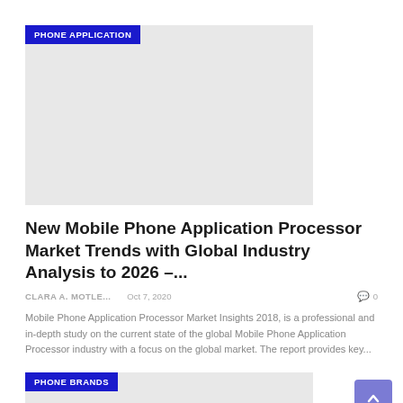[Figure (other): Gray placeholder image with PHONE APPLICATION badge overlay]
New Mobile Phone Application Processor Market Trends with Global Industry Analysis to 2026 –...
CLARA A. MOTLE...   Oct 7, 2020   0
Mobile Phone Application Processor Market Insights 2018, is a professional and in-depth study on the current state of the global Mobile Phone Application Processor industry with a focus on the global market. The report provides key...
[Figure (other): Gray placeholder image with PHONE BRANDS badge overlay]